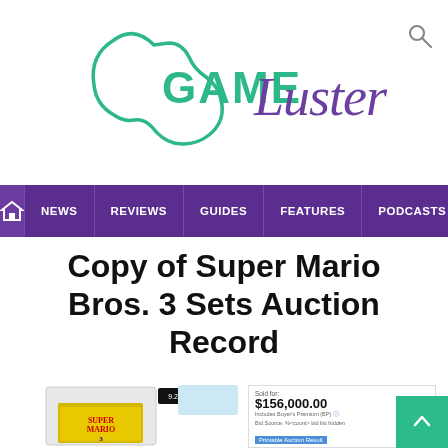[Figure (logo): GameLuster logo — 'GAME' in teal pixel/dot style lettering, 'Luster' in purple cursive script, with a teal guitar/controller outline shape behind the text]
NEWS  REVIEWS  GUIDES  FEATURES  PODCASTS  VI
Copy of Super Mario Bros. 3 Sets Auction Record
[Figure (photo): Screenshot of an auction listing showing a sealed graded copy of Super Mario Bros. 3 in a plastic case, sold for $156,000.00 including buyer's premium. The auction result panel is visible on the right side showing the sale price and auction details.]